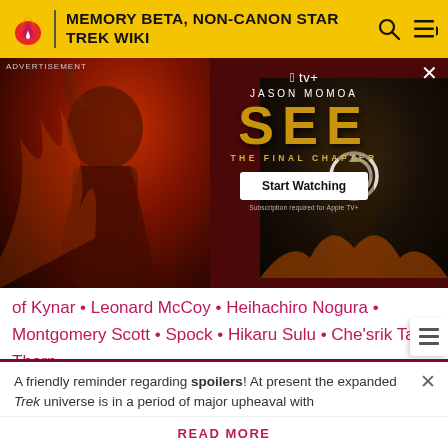MEMORY BETA, NON-CANON STAR TREK WIKI
[Figure (screenshot): Advertisement banner for Apple TV+ show 'SEE: The Final Chapter' starring Jason Momoa. Shows actor on left with fiery background, show title in large gold letters, 'Start Watching' button, and a second image of actor on right with a reload spinner.]
of Kynar • Leonard McCoy • Heihachiro Nogura • Montgomery Scott • Spock • Hikaru Sulu • Che'srik Tal • Thorn
Referenced only
Amanda Grayson • Herman Melville • Sarek • Stonn • T'Asija • T'Pring
A friendly reminder regarding spoilers! At present the expanded Trek universe is in a period of major upheaval with
READ MORE